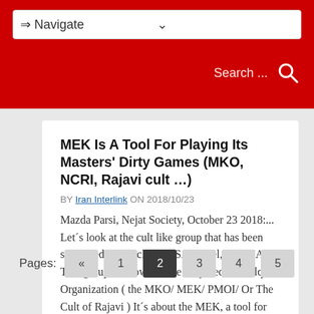⇒ Navigate
MEK Is A Tool For Playing Its Masters' Dirty Games (MKO, NCRI, Rajavi cult …)
BY Iran Interlink ON 2018/10/23
Mazda Parsi, Nejat Society, October 23 2018:... Let´s look at the cult like group that has been supported and backed by SA, Israel, and CIA : This group is known as the Mujahedin Khalq Organization ( the MKO/ MEK/ PMOI/ Or The Cult of Rajavi ) It´s about the MEK, a tool for Regime Change, terror attacks in Iran, for spying...
Pages: « 1 2 3 4 5